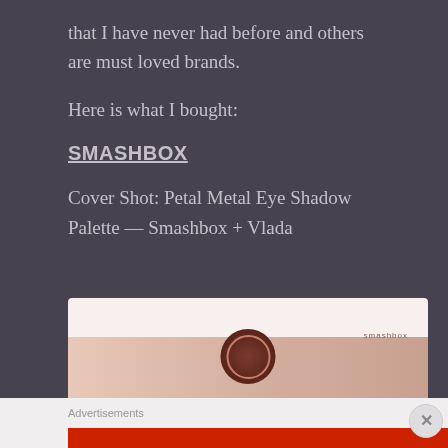that I have never had before and others are must loved brands.
Here is what I bought:
SMASHBOX
Cover Shot: Petal Metal Eye Shadow Palette — Smashbox + Vlada
[Figure (photo): Smashbox Cover Shot Petal Metal Eye Shadow Palette showing swatches of multiple eyeshadow colors in neutral/brown tones, displayed with the palette compact below]
Advertisements